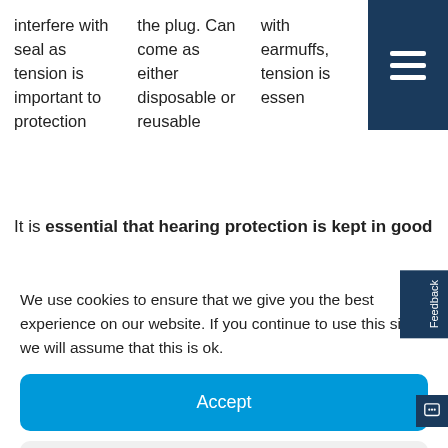interfere with seal as tension is important to protection
the plug. Can come as either disposable or reusable
with earmuffs, tension is essen...
It is essential that hearing protection is kept in good
We use cookies to ensure that we give you the best experience on our website. If you continue to use this site we will assume that this is ok.
Accept
Deny
Preferences
Cookie Policy   Privacy Policy